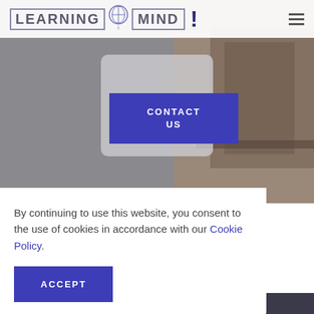LEARNING MIND
[Figure (screenshot): Hero background image showing a person at a piano/keyboard, muted gray-brown tones]
CONTACT US
By continuing to use this website, you consent to the use of cookies in accordance with our Cookie Policy.
ACCEPT
Us | Privacy